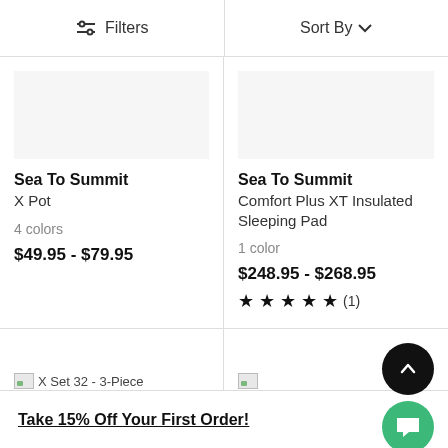Filters | Sort By
Sea To Summit
X Pot
4 colors
$49.95 - $79.95
Sea To Summit
Comfort Plus XT Insulated Sleeping Pad
1 color
$248.95 - $268.95
★★★★★ (1)
[Figure (screenshot): Broken image placeholder for X Set 32 - 3-Piece product listing]
[Figure (screenshot): Broken image placeholder for Traveller Trl Sleeping Bag: 50F Down product listing]
Take 15% Off Your First Order!